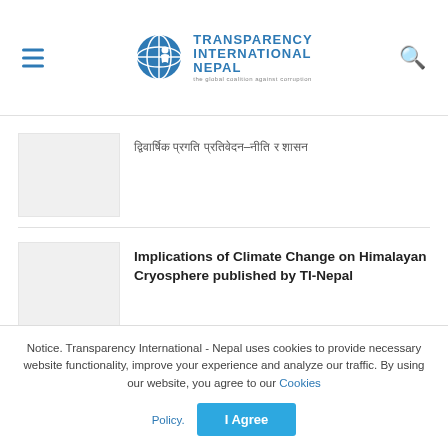Transparency International Nepal — the global coalition against corruption
[Nepali script text] — article title in Nepali
Implications of Climate Change on Himalayan Cryosphere published by TI-Nepal
[Nepali script text]
Notice. Transparency International - Nepal uses cookies to provide necessary website functionality, improve your experience and analyze our traffic. By using our website, you agree to our Cookies Policy.